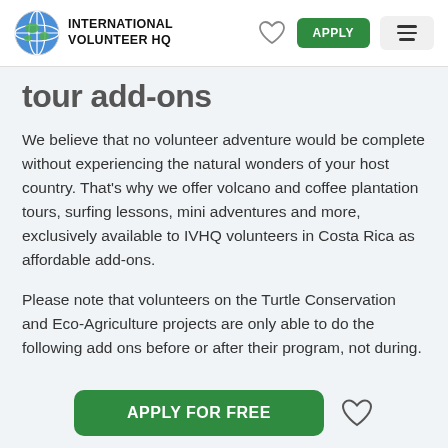INTERNATIONAL VOLUNTEER HQ
tour add-ons
We believe that no volunteer adventure would be complete without experiencing the natural wonders of your host country. That's why we offer volcano and coffee plantation tours, surfing lessons, mini adventures and more, exclusively available to IVHQ volunteers in Costa Rica as affordable add-ons.
Please note that volunteers on the Turtle Conservation and Eco-Agriculture projects are only able to do the following add ons before or after their program, not during.
Please contact us or your IVHQ Program Manager to book
APPLY FOR FREE